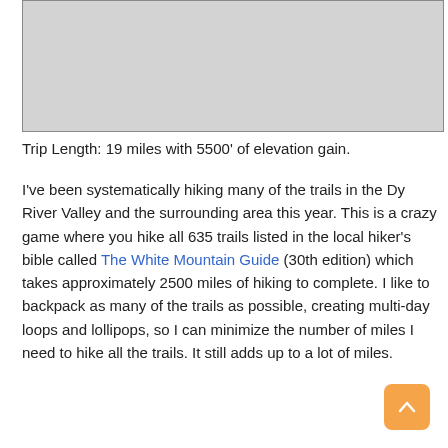[Figure (photo): Gray placeholder image area at the top of the page]
Trip Length: 19 miles with 5500' of elevation gain.
I've been systematically hiking many of the trails in the Dy River Valley and the surrounding area this year. This is a crazy game where you hike all 635 trails listed in the local hiker's bible called The White Mountain Guide (30th edition) which takes approximately 2500 miles of hiking to complete. I like to backpack as many of the trails as possible, creating multi-day loops and lollipops, so I can minimize the number of miles I need to hike all the trails. It still adds up to a lot of miles.